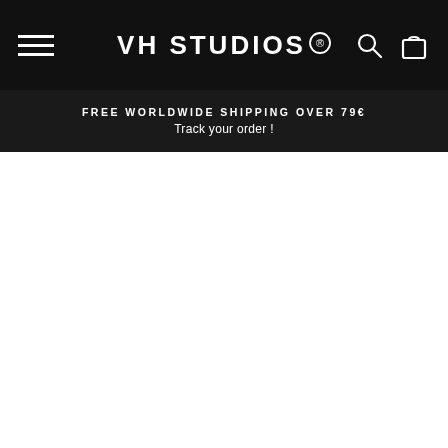VH STUDIOS®
FREE WORLDWIDE SHIPPING OVER 79€
Track your order !